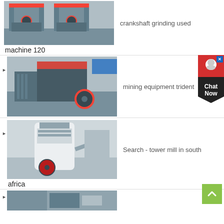[Figure (photo): Two industrial cone crushers with red and grey coloring in a factory setting]
crankshaft grinding used
machine 120
[Figure (photo): Large industrial impact crusher with red wheels in a factory warehouse]
mining equipment trident
[Figure (photo): Industrial cone crusher machine, white and grey, with red wheel in a factory]
Search - tower mill in south
africa
[Figure (photo): Partial view of industrial machinery at bottom of page]